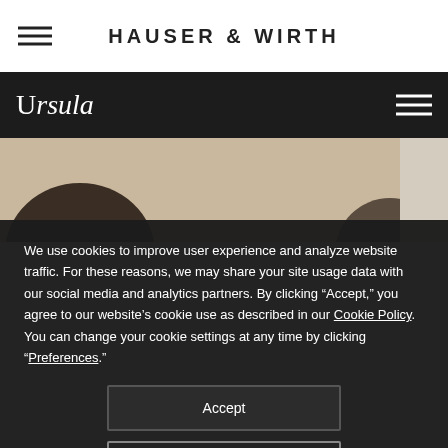HAUSER & WIRTH
Ursula
[Figure (photo): Sepia-toned photograph showing a person's head/hair against a beige background, partially visible]
We use cookies to improve user experience and analyze website traffic. For these reasons, we may share your site usage data with our social media and analytics partners. By clicking “Accept,” you agree to our website’s cookie use as described in our Cookie Policy. You can change your cookie settings at any time by clicking “Preferences.”
Accept
Preferences